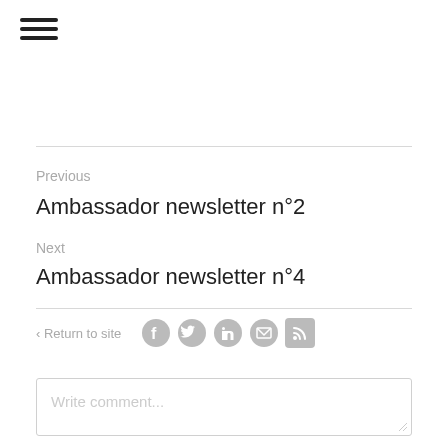[Figure (other): Hamburger menu icon — three horizontal lines]
Previous
Ambassador newsletter n°2
Next
Ambassador newsletter n°4
< Return to site
[Figure (other): Social media icons: Facebook, Twitter, LinkedIn, Email, RSS]
Write comment...